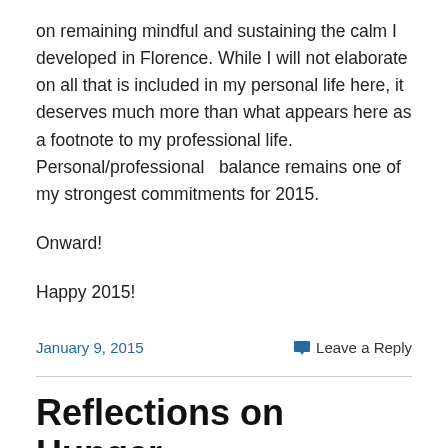on remaining mindful and sustaining the calm I developed in Florence. While I will not elaborate on all that is included in my personal life here, it deserves much more than what appears here as a footnote to my professional life. Personal/professional  balance remains one of my strongest commitments for 2015.
Onward!
Happy 2015!
January 9, 2015
Leave a Reply
Reflections on Hunger, Graduation & Insights 3 Weeks after My Return from My...